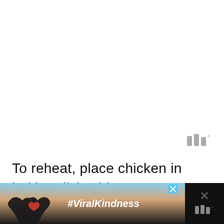[Figure (other): Watermark or branding icon — three vertical grey bars with a degree symbol]
To reheat, place chicken in baking dish with 2-3 tablespoons water. Cover with foil and bake at 350°F for 10-15 minutes or until heated th
[Figure (photo): Advertisement banner showing hands forming a heart shape against a sunset sky background with the text #ViralKindness, with close buttons and a dark side panel with X icon]